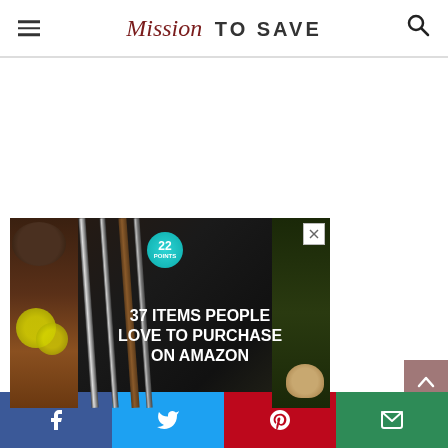Mission To Save
[Figure (screenshot): Advertisement banner: '37 Items People Love to Purchase on Amazon' with knives and food items on dark background, badge showing '22 POINTS']
[Figure (other): Scroll-to-top button (arrow up) in mauve/rose color]
Social share bar: Facebook, Twitter, Pinterest, Email buttons